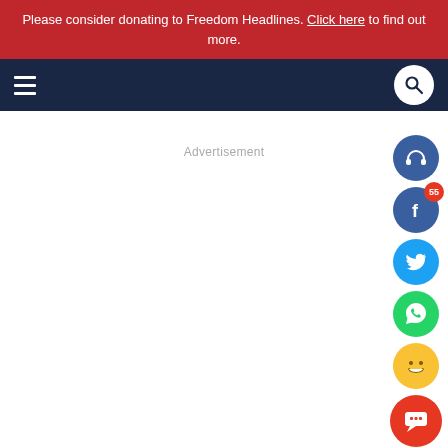Please consider donating to Freedom Headlines. Click here to find out more.
[Figure (screenshot): Website navigation bar with dark navy background, hamburger menu icon on left and search circle icon on right]
Advertisement
[Figure (infographic): Social media share buttons column on right side: headphones/audio icon (dark blue), Facebook icon (dark blue) with badge '55', Twitter bird icon (light blue), WhatsApp icon (green), laughing emoji (yellow), red chat bubble icon]